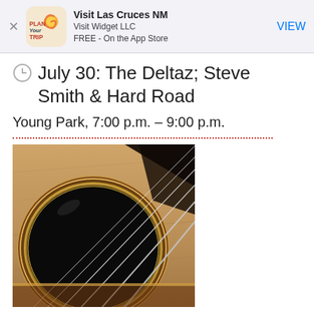[Figure (screenshot): App Store smart banner for 'Visit Las Cruces NM' app by Visit Widget LLC, FREE on the App Store, with VIEW button and Plan Your Trip logo icon]
July 30: The Deltaz; Steve Smith & Hard Road
Young Park, 7:00 p.m. – 9:00 p.m.
[Figure (photo): Close-up photograph of a classical guitar sound hole showing strings, decorative rosette inlay, and wooden body]